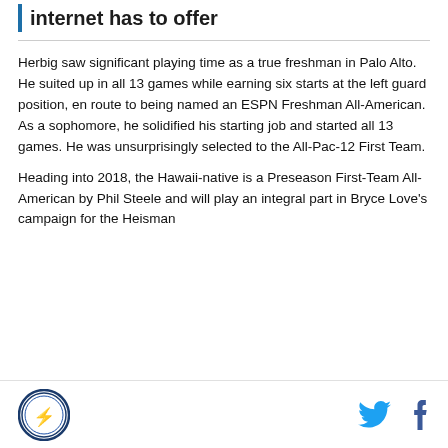internet has to offer
Herbig saw significant playing time as a true freshman in Palo Alto. He suited up in all 13 games while earning six starts at the left guard position, en route to being named an ESPN Freshman All-American. As a sophomore, he solidified his starting job and started all 13 games. He was unsurprisingly selected to the All-Pac-12 First Team.
Heading into 2018, the Hawaii-native is a Preseason First-Team All-American by Phil Steele and will play an integral part in Bryce Love's campaign for the Heisman